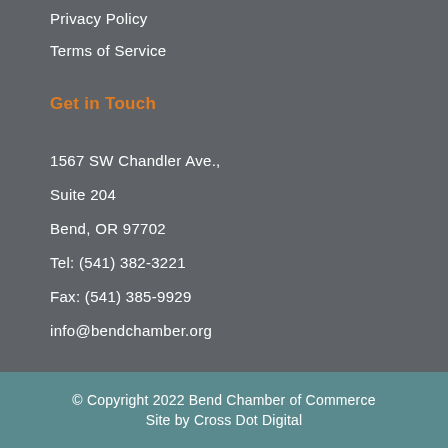Privacy Policy
Terms of Service
Get in Touch
1567 SW Chandler Ave.,
Suite 204
Bend, OR 97702
Tel: (541) 382-3221
Fax: (541) 385-9929
info@bendchamber.org
© Copyright 2022 Bend Chamber of Commerce Site by Cross Dot Digital